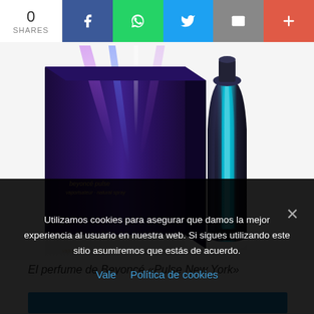0 SHARES | Facebook | WhatsApp | Twitter | Email | More
[Figure (photo): Product photo of Beyoncé Pulse New York perfume: a box with dark blue-purple design with light streaks on the left, and a dark metallic cylindrical bottle with blue-cyan highlights on the right, against a white background with reflections.]
El perfume de Beyoncé «Pulse New York»
[Figure (screenshot): Blue banner/advertisement area partially visible]
Utilizamos cookies para asegurar que damos la mejor experiencia al usuario en nuestra web. Si sigues utilizando este sitio asumiremos que estás de acuerdo.
Vale   Política de cookies